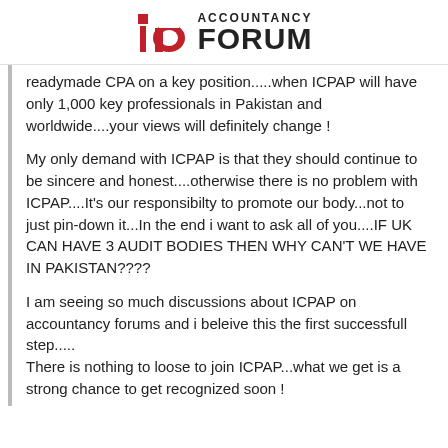[Figure (logo): Accountancy Forum logo with red 'ia' icon and bold text ACCOUNTANCY FORUM]
readymade CPA on a key position.....when ICPAP will have only 1,000 key professionals in Pakistan and worldwide....your views will definitely change !
My only demand with ICPAP is that they should continue to be sincere and honest....otherwise there is no problem with ICPAP....It's our responsibilty to promote our body...not to just pin-down it...In the end i want to ask all of you....IF UK CAN HAVE 3 AUDIT BODIES THEN WHY CAN'T WE HAVE IN PAKISTAN????
I am seeing so much discussions about ICPAP on accountancy forums and i beleive this the first successfull step.....
There is nothing to loose to join ICPAP...what we get is a strong chance to get recognized soon !